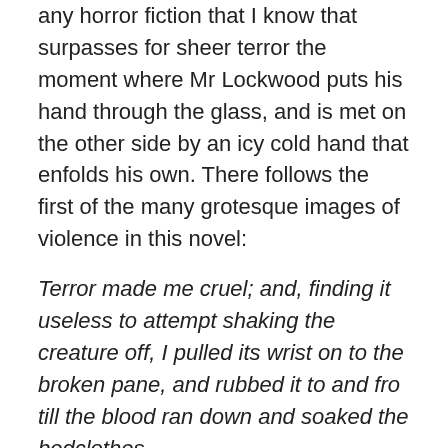any horror fiction that I know that surpasses for sheer terror the moment where Mr Lockwood puts his hand through the glass, and is met on the other side by an icy cold hand that enfolds his own. There follows the first of the many grotesque images of violence in this novel:
Terror made me cruel; and, finding it useless to attempt shaking the creature off, I pulled its wrist on to the broken pane, and rubbed it to and fro till the blood ran down and soaked the bedclothes
Terror can, indeed, make us cruel, but this (especially coming as it does from so insipid a character as Mr Lockwood) is horrendous!
It is, however, entirely consistent with the general tone of the book. There is a very hard edge throughout – indeed,